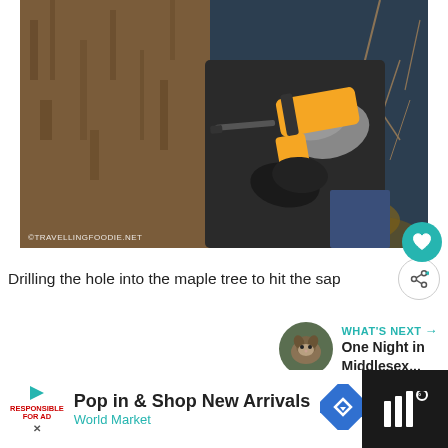[Figure (photo): Person in dark jacket and gloves drilling into a maple tree trunk with a yellow power drill, outdoor winter/early spring setting with bare branches visible]
Drilling the hole into the maple tree to hit the sap
WHAT'S NEXT → One Night in Middlesex...
[Figure (photo): Small thumbnail image of an animal (appears to be a hedgehog or similar small animal)]
Pop in & Shop New Arrivals World Market